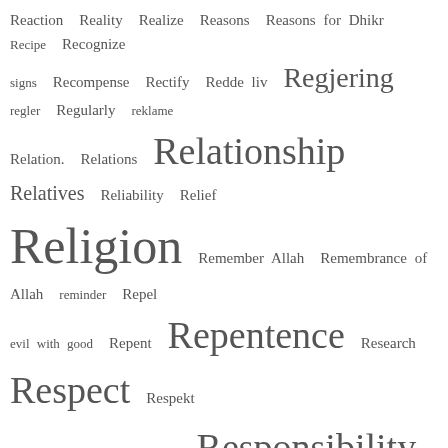[Figure (other): Tag cloud / word cloud of Islamic and social topics beginning with R and S, displayed in varying font sizes to indicate frequency/importance. Words include Religion, Reward, Responsibility, Relationship, Rights, Salah, Samfunn, Samfunnet, Repentence, Respect, Rules, Sahih Muslim, Self-, etc.]